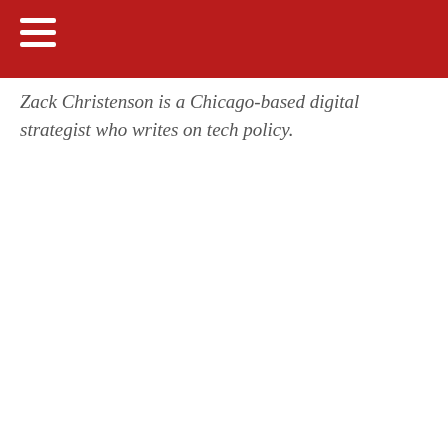Zack Christenson is a Chicago-based digital strategist who writes on tech policy.